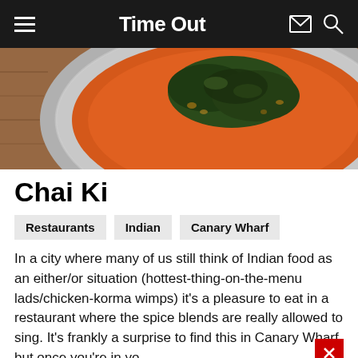Time Out
[Figure (photo): Overhead view of an orange curry dish in a grey bowl, garnished with dark leafy greens and nuts on a wooden surface]
Chai Ki
Restaurants
Indian
Canary Wharf
In a city where many of us still think of Indian food as an either/or situation (hottest-thing-on-the-menu lads/chicken-korma wimps) it's a pleasure to eat in a restaurant where the spice blends are really allowed to sing. It's frankly a surprise to find this in Canary Wharf, but once you're in yo